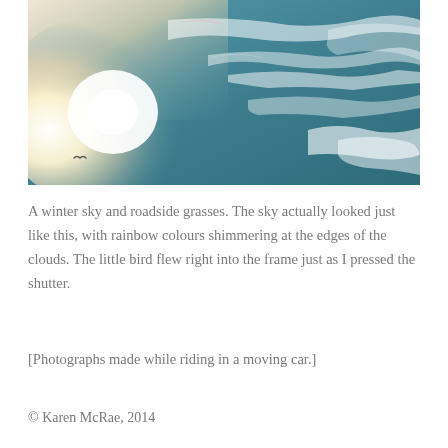[Figure (photo): A photograph of a winter sky taken from a moving car. The sky shows dramatic clouds with rainbow-like iridescent colours shimmering at the cloud edges. The upper left has a bright white glare from the sun, fading into teal/blue sky with wispy white clouds. A small bird silhouette is visible in the lower left of the image.]
A winter sky and roadside grasses. The sky actually looked just like this, with rainbow colours shimmering at the edges of the clouds. The little bird flew right into the frame just as I pressed the shutter.
[Photographs made while riding in a moving car.]
© Karen McRae, 2014